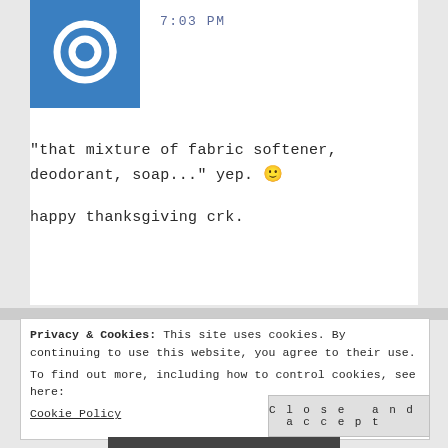[Figure (illustration): Blue square avatar with white swirl/eye icon]
7:03 PM
"that mixture of fabric softener, deodorant, soap..." yep. 🙂
happy thanksgiving crk.
Privacy & Cookies: This site uses cookies. By continuing to use this website, you agree to their use.
To find out more, including how to control cookies, see here:
Cookie Policy
Close and accept